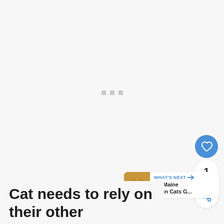[Figure (other): Loading state placeholder area — large light grey background with three small grey squares as loading indicator dots in the center]
[Figure (other): UI overlay: blue circular heart/like button, count showing '1', white circular share button with share icon, and a 'WHAT'S NEXT' card with thumbnail of a cat (orange/brown tones) and text 'Do Maine Coon Cats G...']
Cat needs to rely on their other